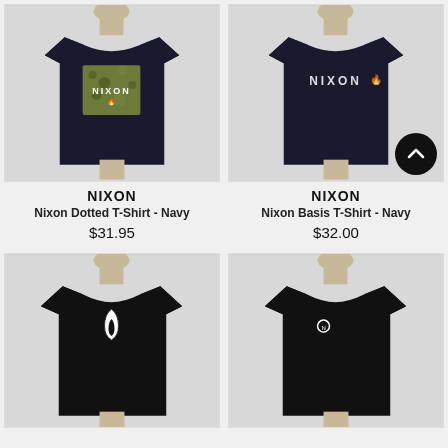[Figure (photo): Mannequin wearing a dark navy t-shirt with olive/camo square logo patch on chest - Nixon Dotted T-Shirt Navy]
[Figure (photo): Mannequin wearing a dark navy t-shirt with NIXON logo text on chest - Nixon Basis T-Shirt Navy]
NIXON
Nixon Dotted T-Shirt - Navy
$31.95
NIXON
Nixon Basis T-Shirt - Navy
$32.00
[Figure (photo): Mannequin wearing a black t-shirt with white teardrop/flame Nixon logo on chest]
[Figure (photo): Mannequin wearing a black t-shirt with small Nixon logo on left chest]